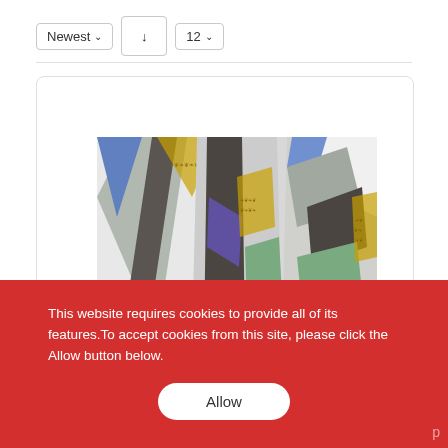Newest ↓ 12
[Figure (photo): Product image showing layered fabric/wallpaper samples in various colors and patterns including gray, blue, green, white, brown and gold ornamental designs, displayed in a fanned stack arrangement]
This website requires cookies to provide all of its features. To accept cookies from this site, please click the Allow button below.
Allow